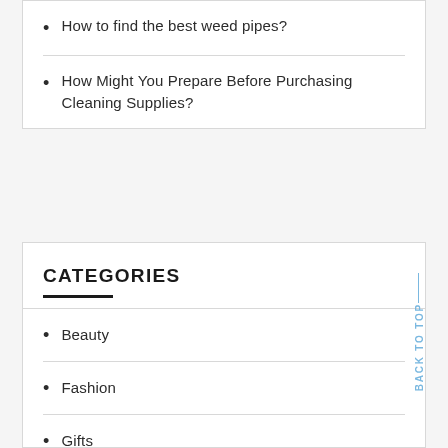How to find the best weed pipes?
How Might You Prepare Before Purchasing Cleaning Supplies?
CATEGORIES
Beauty
Fashion
Gifts